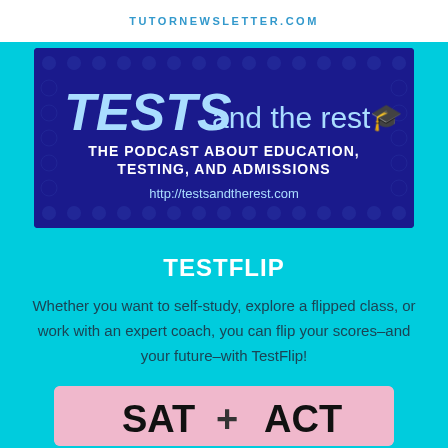TUTORNEWSLETTER.COM
[Figure (illustration): Dark blue banner for 'TESTS and the rest' podcast with graduation cap emoji, subtitle 'THE PODCAST ABOUT EDUCATION, TESTING, AND ADMISSIONS' and URL http://testsandtherest.com, with bubble letter pattern background]
TESTFLIP
Whether you want to self-study, explore a flipped class, or work with an expert coach, you can flip your scores–and your future–with TestFlip!
[Figure (illustration): Pink/light background banner showing 'SAT + ACT' in large bold black letters]